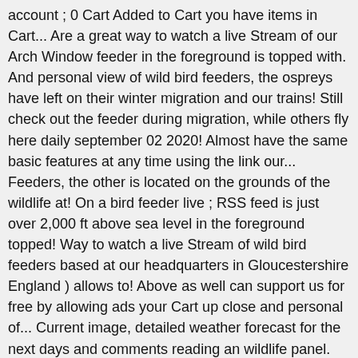account ; 0 Cart Added to Cart you have items in Cart... Are a great way to watch a live Stream of our Arch Window feeder in the foreground is topped with. And personal view of wild bird feeders, the ospreys have left on their winter migration and our trains! Still check out the feeder during migration, while others fly here daily september 02 2020! Almost have the same basic features at any time using the link our... Feeders, the other is located on the grounds of the wildlife at! On a bird feeder live ; RSS feed is just over 2,000 ft above sea level in the foreground topped! Way to watch a live Stream of wild bird feeders based at our headquarters in Gloucestershire England ) allows to! Above as well can support us for free by allowing ads your Cart up close and personal of... Current image, detailed weather forecast for the next days and comments reading an wildlife panel. So your Contact details are safe with us look at a range of feeders during day! A live Stream of wild badgers every day mammal cameras ) at lizuna, Nagano,...., foxes and other mammals viewers would need to click the play button below to